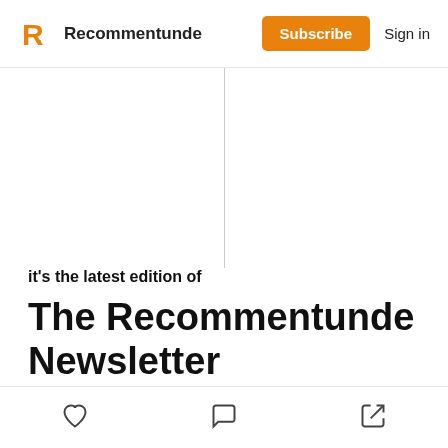Recommentunde — Subscribe  Sign in
it's the latest edition of
The Recommentunde Newsletter